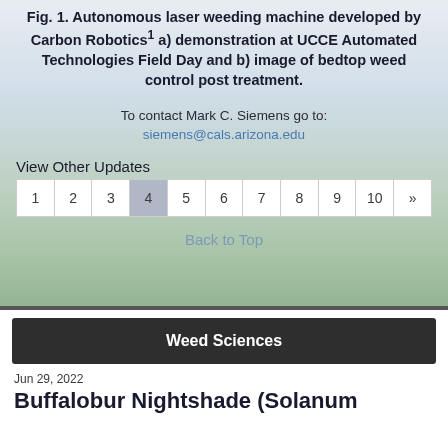Fig. 1. Autonomous laser weeding machine developed by Carbon Robotics1 a) demonstration at UCCE Automated Technologies Field Day and b) image of bedtop weed control post treatment.
To contact Mark C. Siemens go to:
siemens@cals.arizona.edu
View Other Updates
| 1 | 2 | 3 | 4 | 5 | 6 | 7 | 8 | 9 | 10 | » |
Back to Top
Weed Sciences
Jun 29, 2022
Buffalobur Nightshade (Solanum